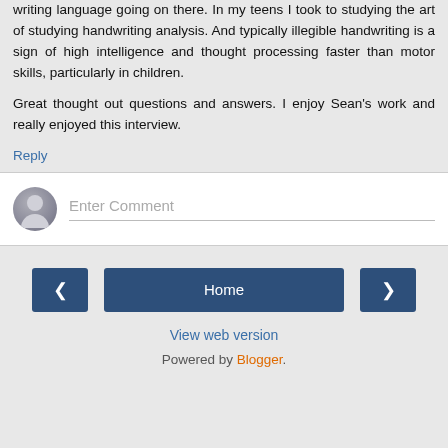writing language going on there. In my teens I took to studying the art of studying handwriting analysis. And typically illegible handwriting is a sign of high intelligence and thought processing faster than motor skills, particularly in children.
Great thought out questions and answers. I enjoy Sean's work and really enjoyed this interview.
Reply
[Figure (other): Comment input box with a user avatar circle icon and placeholder text 'Enter Comment']
Home
View web version
Powered by Blogger.